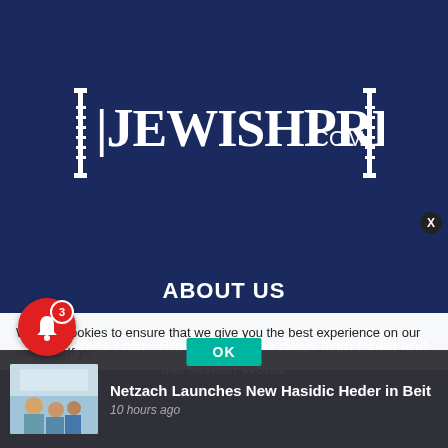[Figure (logo): JewishPress.com logo — white text on dark navy background, stylized with Torah scroll decorations on each side]
ABOUT US
JewishPress.com - Bringing you the news from Israel and the Jewish World.
We use cookies to ensure that we give you the best experience on our website. If yo
Netzach Launches New Hasidic Heder in Beit
10 hours ago
OK